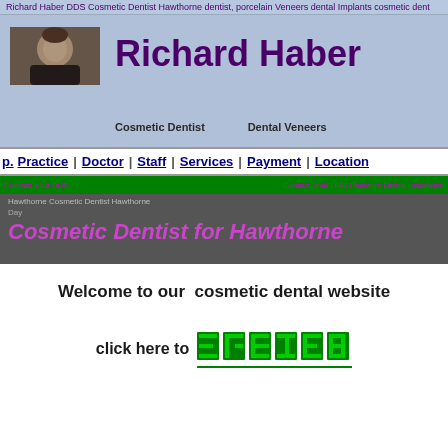Richard Haber DDS Cosmetic Dentist Hawthorne dentist, porcelain Veneers dental Implants cosmetic dent
[Figure (photo): Photo of dentist or patient in header banner]
Richard Haber
Cosmetic Dentist    Dental Veneers
p.  Practice  |  Doctor  |  Staff  |  Services  |  Payment  |  Location
Hawthorne Cosmetic Dentist Hawthorne
Cosmetic Dentist for Hawthorne
Welcome to our  cosmetic dental website
click here to LENTEN